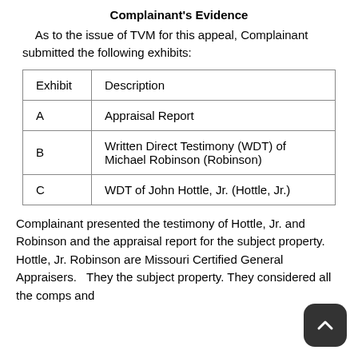Complainant's Evidence
As to the issue of TVM for this appeal, Complainant submitted the following exhibits:
| Exhibit | Description |
| --- | --- |
| A | Appraisal Report |
| B | Written Direct Testimony (WDT) of Michael Robinson (Robinson) |
| C | WDT of John Hottle, Jr. (Hottle, Jr.) |
Complainant presented the testimony of Hottle, Jr. and Robinson and the appraisal report for the subject property.   Hottle, Jr. Robinson are Missouri Certified General Appraisers.   They the subject property. They considered all the comps and...